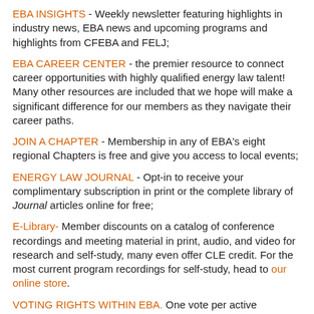EBA INSIGHTS - Weekly newsletter featuring highlights in industry news, EBA news and upcoming programs and highlights from CFEBA and FELJ;
EBA CAREER CENTER - the premier resource to connect career opportunities with highly qualified energy law talent! Many other resources are included that we hope will make a significant difference for our members as they navigate their career paths.
JOIN A CHAPTER - Membership in any of EBA's eight regional Chapters is free and give you access to local events;
ENERGY LAW JOURNAL - Opt-in to receive your complimentary subscription in print or the complete library of Journal articles online for free;
E-Library- Member discounts on a catalog of conference recordings and meeting material in print, audio, and video for research and self-study, many even offer CLE credit. For the most current program recordings for self-study, head to our online store.
VOTING RIGHTS WITHIN EBA. One vote per active